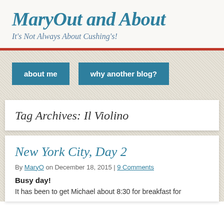MaryOut and About
It's Not Always About Cushing's!
about me
why another blog?
Tag Archives: Il Violino
New York City, Day 2
By MaryO on December 18, 2015 | 9 Comments
Busy day!
It has been to get Michael about 8:30 for breakfast for...